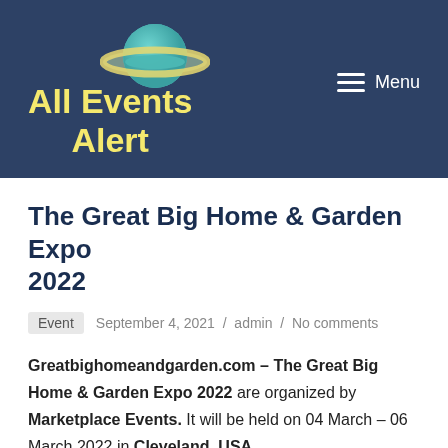[Figure (logo): All Events Alert website header with teal/blue Saturn planet logo and yellow bold site title 'All Events Alert' on dark navy background, with white Menu icon top right]
The Great Big Home & Garden Expo 2022
Event  September 4, 2021 / admin / No comments
Greatbighomeandgarden.com – The Great Big Home & Garden Expo 2022 are organized by Marketplace Events. It will be held on 04 March – 06 March 2022 in Cleveland, USA.